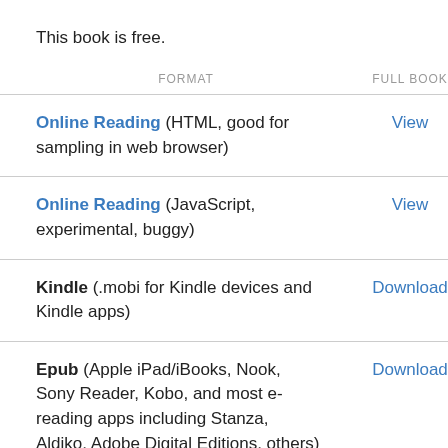This book is free.
| FORMAT | FULL BOOK |
| --- | --- |
| Online Reading (HTML, good for sampling in web browser) | View |
| Online Reading (JavaScript, experimental, buggy) | View |
| Kindle (.mobi for Kindle devices and Kindle apps) | Download |
| Epub (Apple iPad/iBooks, Nook, Sony Reader, Kobo, and most e-reading apps including Stanza, Aldiko, Adobe Digital Editions, others) | Download |